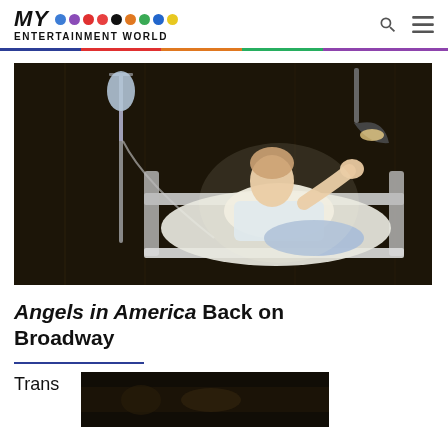MY ENTERTAINMENT WORLD
[Figure (photo): A performer in a hospital gown reclines on a hospital bed with an IV stand beside them, lit dramatically against a dark background, from Angels in America on Broadway]
Angels in America Back on Broadway
[Figure (photo): A dark stage scene from the bottom of the page, partially visible]